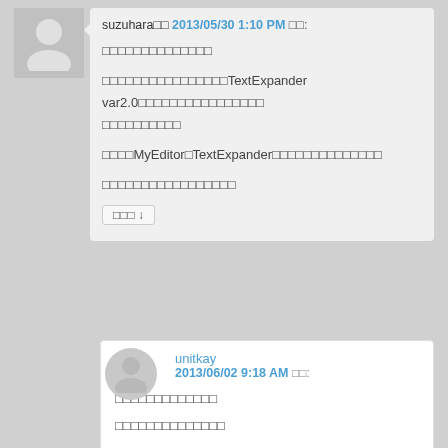[Figure (photo): User avatar placeholder image (gray silhouette of a person) for suzuhara]
suzuhara □□ 2013/05/30 1:10 PM □□:
□□□□□□□□□□□□□□
□□□□□□□□□□□□□□□□TextExpander var2.0□□□□□□□□□□□□□□□□□□□□□□□□□□□□□□□□□□□□MyEditor□TextExpander□□□□□□□□□□□□□□
□□□□□□□□□□□□□□□□□
□□□ ↓
[Figure (photo): User avatar placeholder image (gray silhouette of a person) for unitkay]
unitkay 2013/06/02 9:18 AM □□:
□□□□□□□□□□□□□
□□□□□□□□□□□□□□